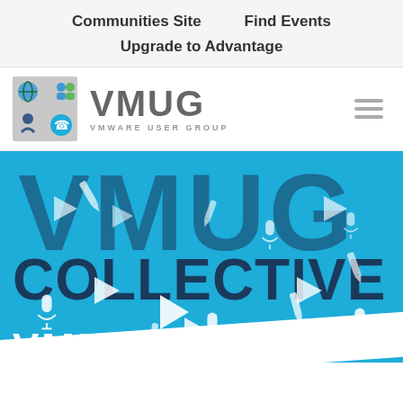Communities Site    Find Events
Upgrade to Advantage
[Figure (logo): VMUG - VMware User Group logo with a 2x2 grid icon showing colorful figures and a phone icon]
[Figure (illustration): VMUG COLLECTIVE hero banner in blue with white microphone, play button, and pencil icons scattered, and dark navy VMUG text in background. Partial VMUG white text at bottom over white diagonal strip.]